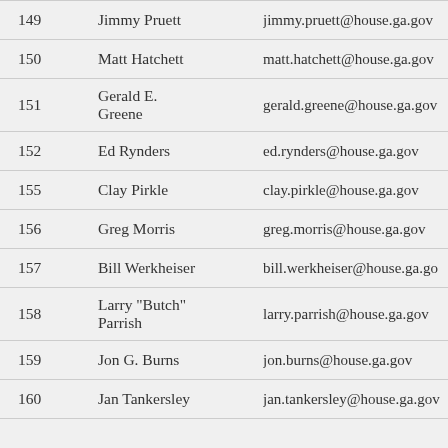| District | Name | Email |
| --- | --- | --- |
| 149 | Jimmy Pruett | jimmy.pruett@house.ga.gov |
| 150 | Matt Hatchett | matt.hatchett@house.ga.gov |
| 151 | Gerald E. Greene | gerald.greene@house.ga.gov |
| 152 | Ed Rynders | ed.rynders@house.ga.gov |
| 155 | Clay Pirkle | clay.pirkle@house.ga.gov |
| 156 | Greg Morris | greg.morris@house.ga.gov |
| 157 | Bill Werkheiser | bill.werkheiser@house.ga.gov |
| 158 | Larry "Butch" Parrish | larry.parrish@house.ga.gov |
| 159 | Jon G. Burns | jon.burns@house.ga.gov |
| 160 | Jan Tankersley | jan.tankersley@house.ga.gov |